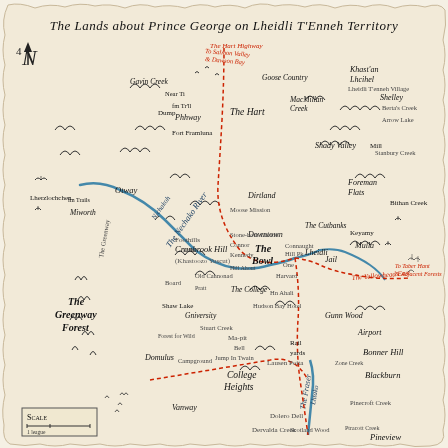[Figure (map): Hand-drawn fantasy-style map titled 'The Lands about Prince George on Lheidli T'Enneh Territory'. Shows rivers (Nechako River, Fraser River), forests, hills, and named locations including The Hart, The Bowl, College Heights, Cranbrook Hill, The Greenway Forest, Shady Valley, Foreman Flats, Bonner Hill, Blackburn, and many other place names. A dotted red line marks a route. North arrow in top left. Scale bar in bottom left.]